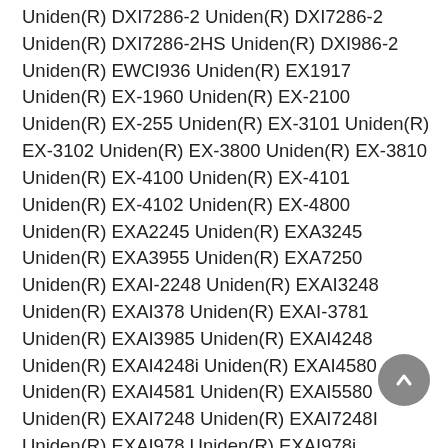Uniden(R) DXI7286-2 Uniden(R) DXI7286-2 Uniden(R) DXI7286-2HS Uniden(R) DXI986-2 Uniden(R) EWCI936 Uniden(R) EX1917 Uniden(R) EX-1960 Uniden(R) EX-2100 Uniden(R) EX-255 Uniden(R) EX-3101 Uniden(R) EX-3102 Uniden(R) EX-3800 Uniden(R) EX-3810 Uniden(R) EX-4100 Uniden(R) EX-4101 Uniden(R) EX-4102 Uniden(R) EX-4800 Uniden(R) EXA2245 Uniden(R) EXA3245 Uniden(R) EXA3955 Uniden(R) EXA7250 Uniden(R) EXAI-2248 Uniden(R) EXAI3248 Uniden(R) EXAI378 Uniden(R) EXAI-3781 Uniden(R) EXAI3985 Uniden(R) EXAI4248 Uniden(R) EXAI4248i Uniden(R) EXAI4580 Uniden(R) EXAI4581 Uniden(R) EXAI5580 Uniden(R) EXAI7248 Uniden(R) EXAI7248I Uniden(R) EXAI978 Uniden(R) EXAI978i Uniden(R) EXI-2246 Uniden(R) EXI2926 Uniden(R) EXI2960 Uniden(R) EX-I2980 Uniden(R) EXI3226 Uniden(R) EXI3246C Uniden(R) EXI376C Uniden(R) EXI4246 Uniden(R) EXI4246C Uniden(R) EXI4561 Uniden(R) EX-I4561 Uniden(R) EXI5160 Uniden(R) EXI5560 Uniden(R) EXI7246B Uniden(R) EXI7246C Uniden(R) EXI7246C